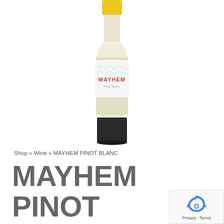[Figure (photo): A wine bottle with a white label reading MAYHEM in red letters, with Pinot Blanc text below. The bottle has a yellow capsule top and dark bottom.]
Shop » Wine » MAYHEM PINOT BLANC
MAYHEM PINOT BLANC